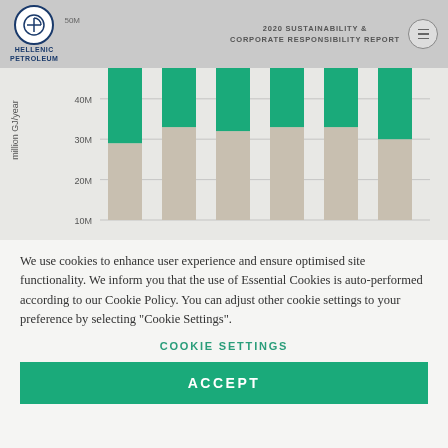2020 SUSTAINABILITY & CORPORATE RESPONSIBILITY REPORT
[Figure (stacked-bar-chart): ]
We use cookies to enhance user experience and ensure optimised site functionality. We inform you that the use of Essential Cookies is auto-performed according to our Cookie Policy. You can adjust other cookie settings to your preference by selecting "Cookie Settings".
COOKIE SETTINGS
ACCEPT